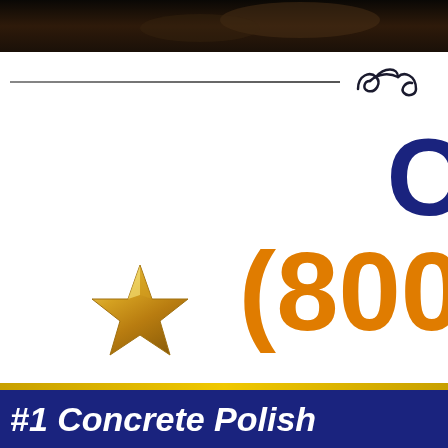[Figure (photo): Dark photo strip at top of page, showing a dark background with warm amber/brown tones]
[Figure (illustration): Decorative horizontal divider with a line on the left and a scrollwork/flourish ornament on the right in dark navy]
C
[Figure (illustration): Gold 3D star icon]
(800
#1 Concrete Polish